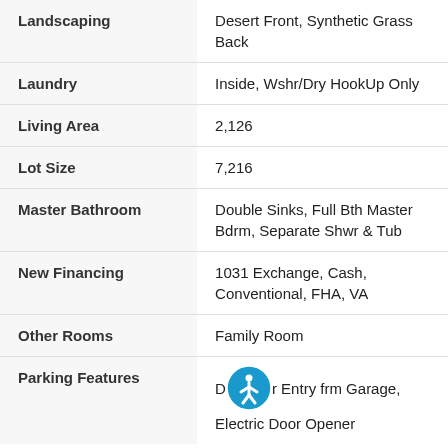| Field | Value |
| --- | --- |
| Landscaping | Desert Front, Synthetic Grass Back |
| Laundry | Inside, Wshr/Dry HookUp Only |
| Living Area | 2,126 |
| Lot Size | 7,216 |
| Master Bathroom | Double Sinks, Full Bth Master Bdrm, Separate Shwr & Tub |
| New Financing | 1031 Exchange, Cash, Conventional, FHA, VA |
| Other Rooms | Family Room |
| Parking Features | Dir Entry frm Garage, Electric Door Opener |